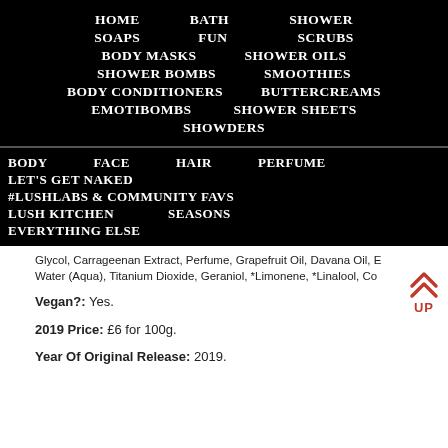HOME   BATH   SHOWER
SOAPS   FUN   SCRUBS
BODY MASKS   SHOWER OILS
SHOWER BOMBS   SMOOTHIES
BODY CONDITIONERS   BUTTERCREAMS
EMOTIBOMBS   SHOWER SHEETS
SHOWDERS
BODY   FACE   HAIR   PERFUME
LET'S GET NAKED
#LUSHLABS & COMMUNITY FAVS
LUSH KITCHEN   SEASONS
EVERYTHING ELSE
Glycol, Carrageenan Extract, Perfume, Grapefruit Oil, Davana Oil, E... Water (Aqua), Titanium Dioxide, Geraniol, *Limonene, *Linalool, Co...
Vegan?: Yes.
2019 Price: £6 for 100g.
Year Of Original Release: 2019.